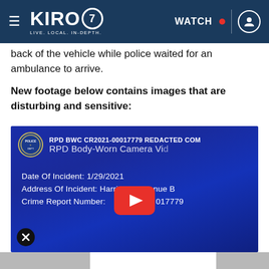[Figure (screenshot): KIRO 7 news website navigation bar with logo, WATCH button with red dot, and user icon on dark blue background]
back of the vehicle while police waited for an ambulance to arrive.
New footage below contains images that are disturbing and sensitive:
[Figure (screenshot): RPD Body-Worn Camera Video thumbnail showing police badge logo, title 'RPD BWC CR2021-00017779 REDACTED COM' and 'RPD Body-Worn Camera Vi', Date Of Incident: 1/29/2021, Address Of Incident: Harris St / Avenue B, Crime Report Number: ...017779, with YouTube play button overlay and X close button]